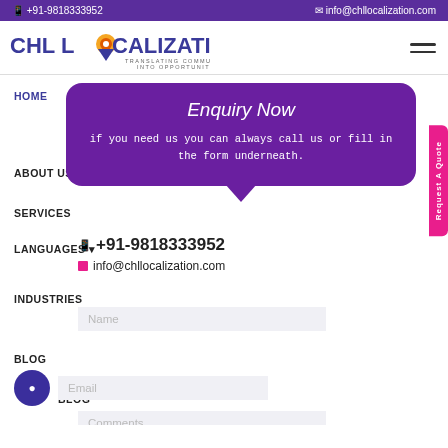📱 +91-9818333952   📧 info@chllocalization.com
[Figure (logo): CHL Localization logo with location pin icon and tagline TRANSLATING COMMUNICATION INTO OPPORTUNITIES]
HOME
Enquiry Now
if you need us you can always call us or fill in the form underneath.
ABOUT US
+91-9818333952
info@chllocalization.com
SERVICES
LANGUAGES ▾
Name
INDUSTRIES
Email
BLOG
Comments